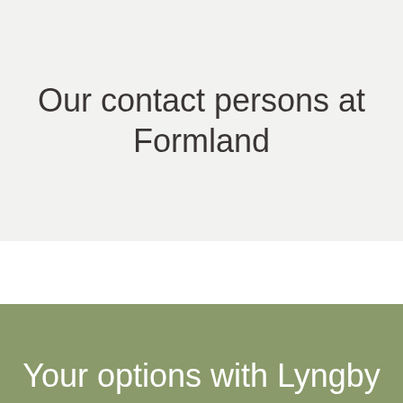Our contact persons at Formland
Your options with Lyngby